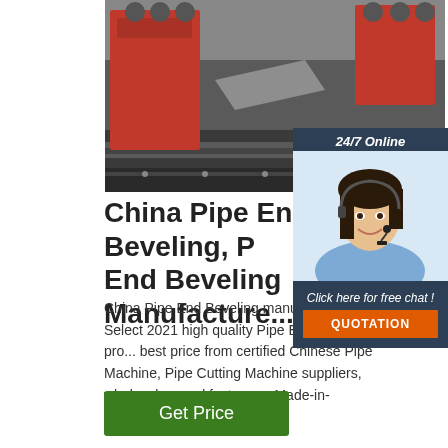[Figure (photo): Industrial pipe end beveling machine on a large work surface with red machine components visible]
[Figure (photo): 24/7 Online chat widget with woman wearing headset smiling, with Click here for free chat text and QUOTATION button]
China Pipe End Beveling, Pipe End Beveling Manufacturers...
China Pipe End Beveling manufacturers - Select 2021 high quality Pipe End Beveling products in best price from certified Chinese Pipe Machine, Pipe Cutting Machine suppliers, wholesalers and factory on Made-in-China.com
Get Price